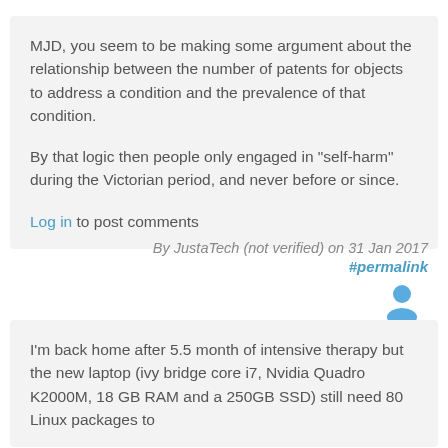MJD, you seem to be making some argument about the relationship between the number of patents for objects to address a condition and the prevalence of that condition.

By that logic then people only engaged in "self-harm" during the Victorian period, and never before or since.

Log in to post comments
By JustaTech (not verified) on 31 Jan 2017
#permalink
I'm back home after 5.5 month of intensive therapy but the new laptop (ivy bridge core i7, Nvidia Quadro K2000M, 18 GB RAM and a 250GB SSD) still need 80 Linux packages to